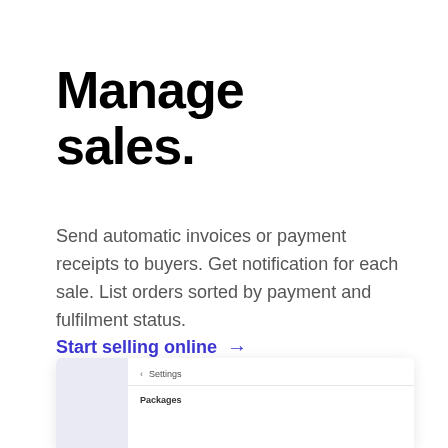Manage sales.
Send automatic invoices or payment receipts to buyers. Get notification for each sale. List orders sorted by payment and fulfilment status.
Start selling online →
[Figure (screenshot): Partial screenshot of a settings/packages UI panel with a sidebar and main content area showing Settings header and Packages label]